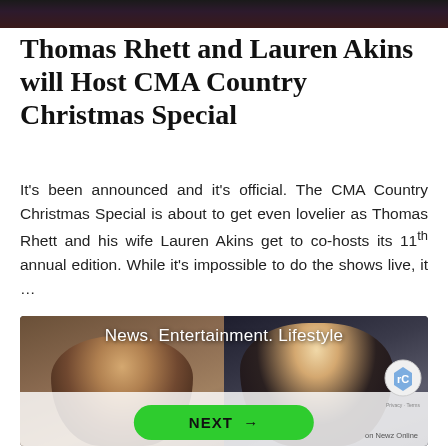[Figure (photo): Cropped top portion of a photo, dark background with partial view of people]
Thomas Rhett and Lauren Akins will Host CMA Country Christmas Special
It's been announced and it's official. The CMA Country Christmas Special is about to get even lovelier as Thomas Rhett and his wife Lauren Akins get to co-hosts its 11th annual edition. While it's impossible to do the shows live, it …
[Figure (screenshot): Video thumbnail showing two people side by side with overlay text 'News. Entertainment. Lifestyle' and a green NEXT button at the bottom. Attribution reads 'on Newz Online'.]